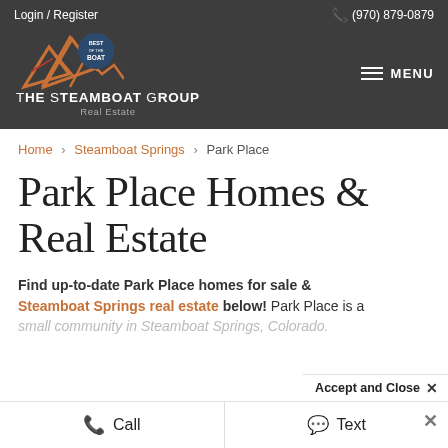Login / Register | (970) 879-0879 | THE STEAMBOAT GROUP Real Estate | MENU
Home > Steamboat Springs > Park Place
Park Place Homes & Real Estate
Find up-to-date Park Place homes for sale & Steamboat Springs real estate below! Park Place is a small community in Steamboat Springs, Colorado.
Accept and Close ×
Call   Text